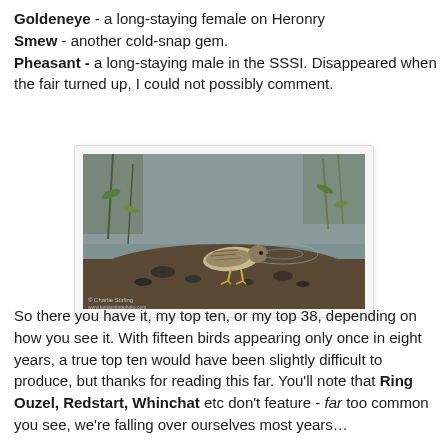Goldeneye - a long-staying female on Heronry Smew - another cold-snap gem. Pheasant - a long-staying male in the SSSI. Disappeared when the fair turned up, I could not possibly comment.
[Figure (photo): A shorebird (sandpiper/dunlin type) standing on muddy shore with pebbles next to water with ripples, vegetation in background. Photo credit: © Charlie Stirling, www.jontanningphoto.com]
So there you have it, my top ten, or my top 38, depending on how you see it. With fifteen birds appearing only once in eight years, a true top ten would have been slightly difficult to produce, but thanks for reading this far. You'll note that Ring Ouzel, Redstart, Whinchat etc don't feature - far too common you see, we're falling over ourselves most years…